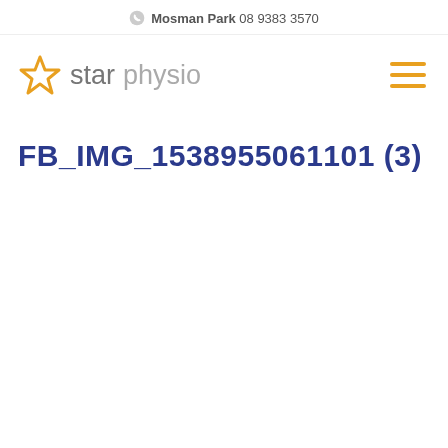Mosman Park 08 9383 3570
[Figure (logo): Star Physio logo with orange star icon and grey text reading 'star physio']
FB_IMG_1538955061101 (3)